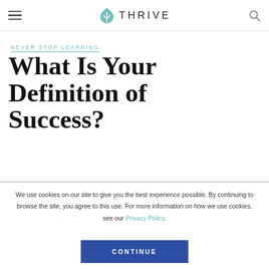THRIVE
NEVER STOP LEARNING
What Is Your Definition of Success?
We use cookies on our site to give you the best experience possible. By continuing to browse the site, you agree to this use. For more information on how we use cookies, see our Privacy Policy.
CONTINUE